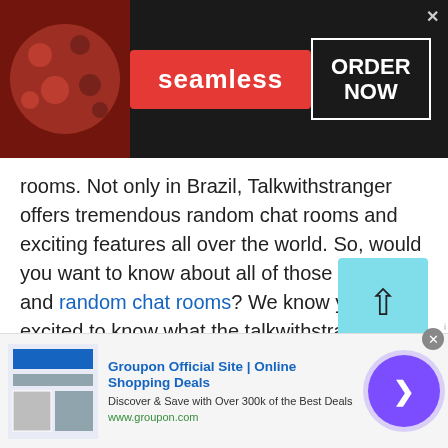[Figure (screenshot): Seamless food delivery advertisement banner showing pizza image on left, red Seamless logo badge in center, and ORDER NOW box on right with X close button]
rooms. Not only in Brazil, Talkwithstranger offers tremendous random chat rooms and exciting features all over the world. So, would you want to know about all of those features and random chat rooms? We know you are excited to know what the talkwithstranger app offers to its users.
Let's reveal how talking to strangers in Brazil is easy, fun and convenient.
[Figure (screenshot): Groupon Official Site advertisement banner with thumbnail, title 'Groupon Official Site | Online Shopping Deals', subtitle 'Discover & Save with Over 300k of the Best Deals', url www.groupon.com, and purple arrow button on right]